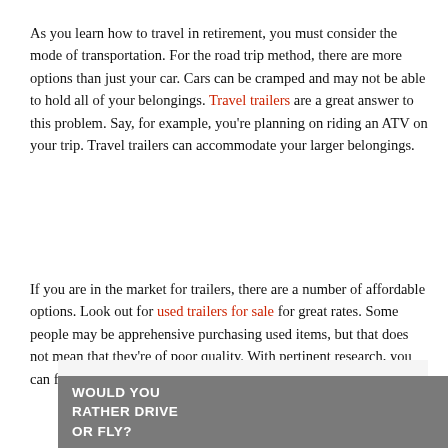As you learn how to travel in retirement, you must consider the mode of transportation. For the road trip method, there are more options than just your car. Cars can be cramped and may not be able to hold all of your belongings. Travel trailers are a great answer to this problem. Say, for example, you're planning on riding an ATV on your trip. Travel trailers can accommodate your larger belongings.
If you are in the market for trailers, there are a number of affordable options. Look out for used trailers for sale for great rates. Some people may be apprehensive purchasing used items, but that does not mean that they're of poor quality. With pertinent research, you can find a great used trailer that can meet your needs.
[Figure (other): Gray banner image with bold white text reading 'WOULD YOU RATHER DRIVE OR FLY?' and a circular scroll-up button on the right side.]